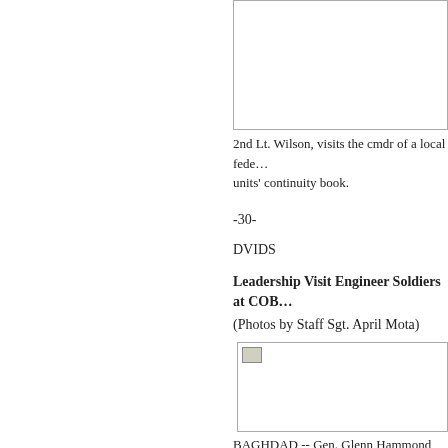[Figure (photo): Photo placeholder at top of page]
2nd Lt. Wilson, visits the cmdr of a local fede... units' continuity book.
-30-
DVIDS
Leadership Visit Engineer Soldiers at COB...
(Photos by Staff Sgt. April Mota)
[Figure (photo): Photo of leadership visit to engineer soldiers]
BAGHDAD -- Gen. Glenn Hammond, III, 16... Brian Civille, on the hard work the Soldiers o... JOC, planning annex and b-huts at COB Can...